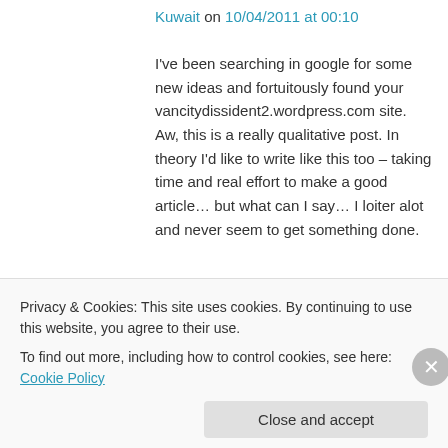Kuwait on 10/04/2011 at 00:10
I've been searching in google for some new ideas and fortuitously found your vancitydissident2.wordpress.com site. Aw, this is a really qualitative post. In theory I'd like to write like this too – taking time and real effort to make a good article… but what can I say… I loiter alot and never seem to get something done.
★ Like
↵ Reply
Privacy & Cookies: This site uses cookies. By continuing to use this website, you agree to their use.
To find out more, including how to control cookies, see here: Cookie Policy
Close and accept